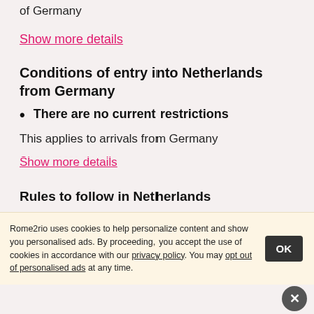of Germany
Show more details
Conditions of entry into Netherlands from Germany
There are no current restrictions
This applies to arrivals from Germany
Show more details
Rules to follow in Netherlands
[Figure (illustration): Two icons: social distancing icon (two people with arrows) and a face mask icon (person wearing mask), on circular gray backgrounds]
Rome2rio uses cookies to help personalize content and show you personalised ads. By proceeding, you accept the use of cookies in accordance with our privacy policy. You may opt out of personalised ads at any time.